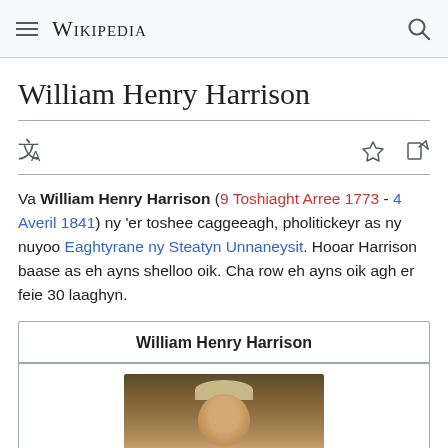Wikipedia
William Henry Harrison
Va William Henry Harrison (9 Toshiaght Arree 1773 - 4 Averil 1841) ny 'er toshee caggeeagh, pholitickeyr as ny nuyoo Eaghtyrane ny Steatyn Unnaneysit. Hooar Harrison baase as eh ayns shelloo oik. Cha row eh ayns oik agh er feie 30 laaghyn.
| William Henry Harrison |
| --- |
| [portrait image] |